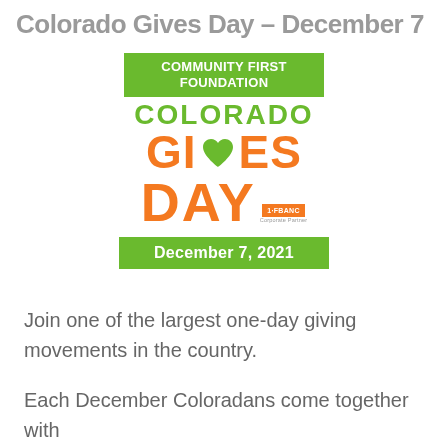Colorado Gives Day – December 7
[Figure (logo): Community First Foundation Colorado Gives Day logo with green banner for organization name, green COLORADO text, orange GI♥ES DAY text with heart replacing the O in GIVES, 1FBANC Corporate Partner sponsor box, and green December 7, 2021 date banner]
Join one of the largest one-day giving movements in the country.
Each December Coloradans come together with